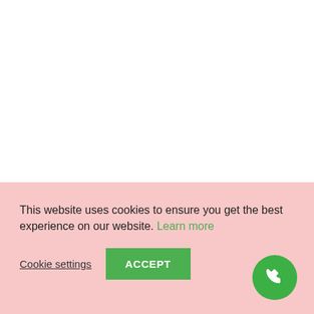This website uses cookies to ensure you get the best experience on our website. Learn more
Cookie settings   ACCEPT